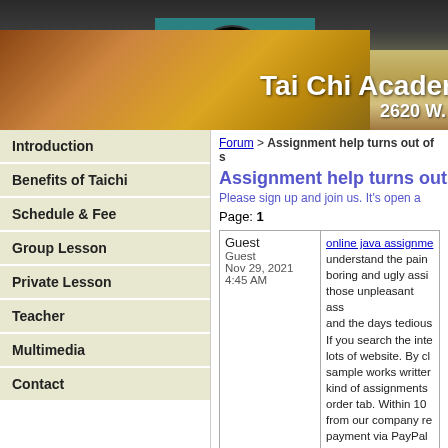[Figure (photo): Tai Chi Academy interior panoramic photo showing wooden floor practice hall with yin-yang symbol on teal wall, flags along ceiling, and text overlay 'Tai Chi Acader' and '2620 W.']
Introduction
Benefits of Taichi
Schedule & Fee
Group Lesson
Private Lesson
Teacher
Multimedia
Contact
Forum > Assignment help turns out of s
Assignment help turns out
Please sign up and join us. It's open a
Page: 1
| Poster | Post |
| --- | --- |
| Guest
Guest
Nov 29, 2021
4:45 AM | online java assignme...
understand the pain...
boring and ugly assi...
those unpleasant ass...
and the days tedious...
If you search the inte...
lots of website. By cl...
sample works written...
kind of assignments...
order tab. Within 10...
from our company re...
payment via PayPal... |